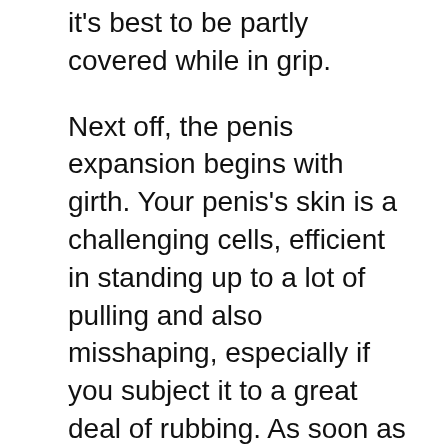it's best to be partly covered while in grip.
Next off, the penis expansion begins with girth. Your penis's skin is a challenging cells, efficient in standing up to a lot of pulling and also misshaping, especially if you subject it to a great deal of rubbing. As soon as your penis has been extended taut, it's time to relocate onto the girth. To do this, slide a good-sized ball (regarding two times as big as your penis is normally) into your penis. Take care not to get the sphere also big; if it gets too loosened, it may remove circulation.
You can utilize a penis extender to help with enhancing girth: lots of extenders have special manages which allow you to slide them under clothes for a fast increase of